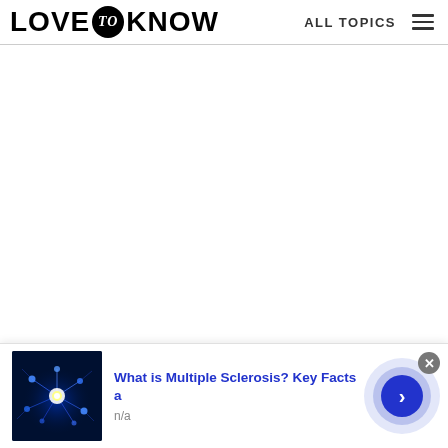LOVE to KNOW   ALL TOPICS
[Figure (screenshot): LoveToKnow website header and blank content area]
[Figure (photo): Blue glowing neural network on dark background — multiple sclerosis illustration]
What is Multiple Sclerosis? Key Facts a
n/a